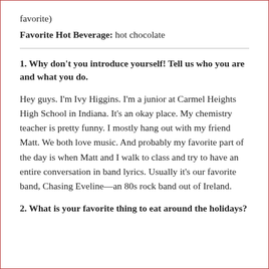favorite)
Favorite Hot Beverage: hot chocolate
1. Why don't you introduce yourself! Tell us who you are and what you do.
Hey guys. I'm Ivy Higgins. I'm a junior at Carmel Heights High School in Indiana. It's an okay place. My chemistry teacher is pretty funny. I mostly hang out with my friend Matt. We both love music. And probably my favorite part of the day is when Matt and I walk to class and try to have an entire conversation in band lyrics. Usually it's our favorite band, Chasing Eveline—an 80s rock band out of Ireland.
2. What is your favorite thing to eat around the holidays?